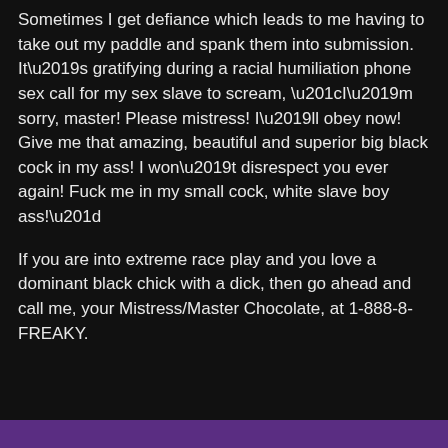Sometimes I get defiance which leads to me having to take out my paddle and spank them into submission. It’s gratifying during a racial humiliation phone sex call for my sex slave to scream, “I’m sorry, master! Please mistress! I’ll obey now! Give me that amazing, beautiful and superior big black cock in my ass! I won’t disrespect you ever again! Fuck me in my small cock, white slave boy ass!”
If you are into extreme race play and you love a dominant black chick with a dick, then go ahead and call me, your Mistress/Master Chocolate, at 1-888-8-FREAKY.